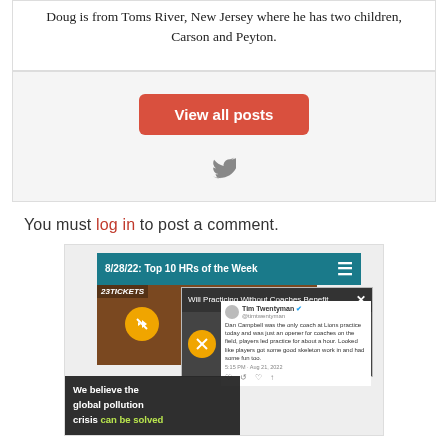Doug is from Toms River, New Jersey where he has two children, Carson and Peyton.
View all posts
You must log in to post a comment.
[Figure (screenshot): Screenshot of a sports website with a video player showing '8/28/22: Top 10 HRs of the Week', an overlay video popup titled 'Will Practicing Without Coaches Benefit ...', a tweet from Tim Twentyman about Dan Campbell, a muted audio button, a tickets advertisement, and a pollution awareness banner reading 'We believe the global pollution crisis can be solved'.]